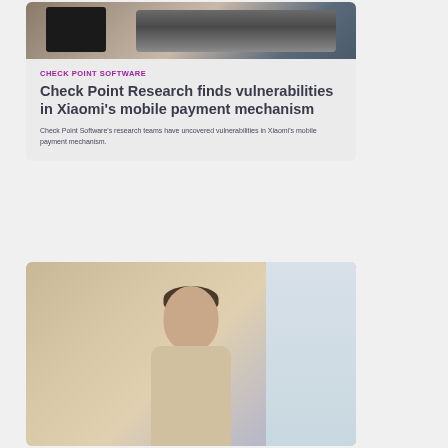[Figure (photo): Photo of laptops and devices on a desk, top portion of article card]
CHECK POINT SOFTWARE
Check Point Research finds vulnerabilities in Xiaomi's mobile payment mechanism
Check Point Software's research teams have uncovered vulnerabilities in Xiaomi's mobile payment mechanism.
[Figure (photo): Photo of a man, presumably a researcher or executive, in front of a window with buildings visible in background]